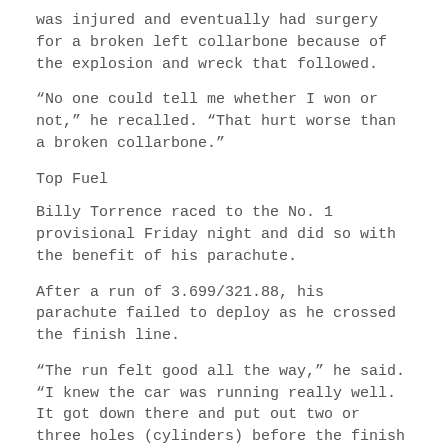was injured and eventually had surgery for a broken left collarbone because of the explosion and wreck that followed.
“No one could tell me whether I won or not,” he recalled. “That hurt worse than a broken collarbone.”
Top Fuel
Billy Torrence raced to the No. 1 provisional Friday night and did so with the benefit of his parachute.
After a run of 3.699/321.88, his parachute failed to deploy as he crossed the finish line.
“The run felt good all the way,” he said. “I knew the car was running really well. It got down there and put out two or three holes (cylinders) before the finish line and, interestingly enough for some reason, the parachute mechanism failed to come out.